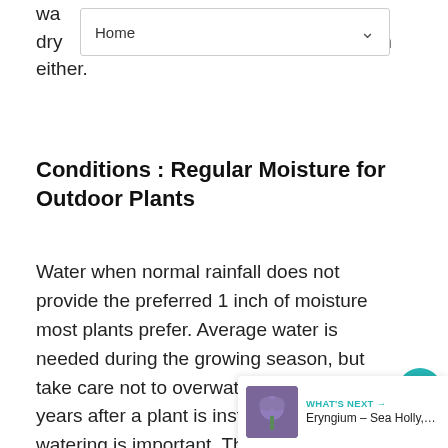Home
wa... dry out, but does not have a drainage problem either.
Conditions : Regular Moisture for Outdoor Plants
Water when normal rainfall does not provide the preferred 1 inch of moisture most plants prefer. Average water is needed during the growing season, but take care not to overwater. The first two years after a plant is installed, regular watering is important. The first year is critical. It is better to water once a week and water deeply, than to water frequently for a few minutes.